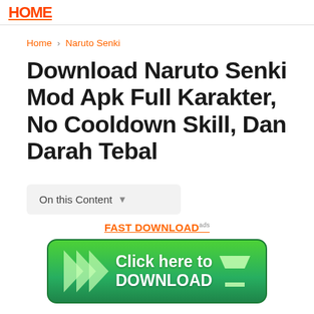HOME
Home › Naruto Senki
Download Naruto Senki Mod Apk Full Karakter, No Cooldown Skill, Dan Darah Tebal
On this Content
FAST DOWNLOADads
[Figure (other): Green download button with chevrons and text 'Click here to DOWNLOAD' with a download icon]